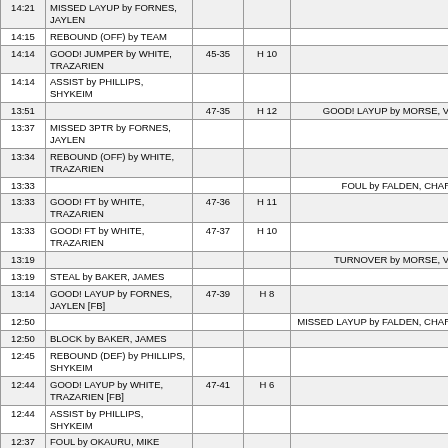| Time | Home | Score | Margin | Away |
| --- | --- | --- | --- | --- |
| 14:21 | MISSED LAYUP by FORNES, JAYLEN |  |  |  |
| 14:15 | REBOUND (OFF) by TEAM |  |  |  |
| 14:14 | GOOD! JUMPER by WHITE, TRAZARIEN | 45-35 | H 10 |  |
| 14:14 | ASSIST by PHILLIPS, SHYKEIM |  |  |  |
| 13:51 |  | 47-35 | H 12 | GOOD! LAYUP by MORSE, VADO |
| 13:37 | MISSED 3PTR by FORNES, JAYLEN |  |  |  |
| 13:34 | REBOUND (OFF) by WHITE, TRAZARIEN |  |  |  |
| 13:33 |  |  |  | FOUL by FALDEN, CHARLES |
| 13:33 | GOOD! FT by WHITE, TRAZARIEN | 47-36 | H 11 |  |
| 13:33 | GOOD! FT by WHITE, TRAZARIEN | 47-37 | H 10 |  |
| 13:19 |  |  |  | TURNOVER by MORSE, VADO |
| 13:19 | STEAL by BAKER, JAMES |  |  |  |
| 13:14 | GOOD! LAYUP by FORNES, JAYLEN [FB] | 47-39 | H 8 |  |
| 12:50 |  |  |  | MISSED LAYUP by FALDEN, CHARLES |
| 12:50 | BLOCK by BAKER, JAMES |  |  |  |
| 12:45 | REBOUND (DEF) by PHILLIPS, SHYKEIM |  |  |  |
| 12:44 | GOOD! LAYUP by WHITE, TRAZARIEN [FB] | 47-41 | H 6 |  |
| 12:44 | ASSIST by PHILLIPS, SHYKEIM |  |  |  |
| 12:37 | FOUL by OKAURU, MIKE |  |  |  |
| 12:37 |  |  |  | TIMEOUT 30SEC |
| 12:37 |  |  |  | SUB OUT: FALDEN, CHARLES |
| 12:37 |  |  |  | SUB OUT: WOODEN, JULIEN |
| 12:37 |  |  |  | SUB IN: EDWARDS, TERRENCE |
| 12:37 |  |  |  | SUB IN: MOLSON, TAKAL |
| 12:11 |  |  |  | TURNOVER by MOLSON |